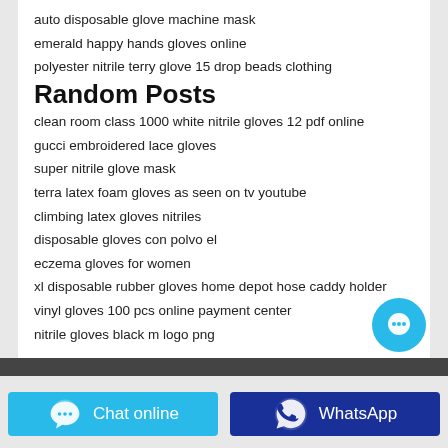auto disposable glove machine mask
emerald happy hands gloves online
polyester nitrile terry glove 15 drop beads clothing
Random Posts
clean room class 1000 white nitrile gloves 12 pdf online
gucci embroidered lace gloves
super nitrile glove mask
terra latex foam gloves as seen on tv youtube
climbing latex gloves nitriles
disposable gloves con polvo el
eczema gloves for women
xl disposable rubber gloves home depot hose caddy holder
vinyl gloves 100 pcs online payment center
nitrile gloves black m logo png
[Figure (other): Floating chat bubble button (cyan circle with ellipsis icon)]
[Figure (other): Dark horizontal bar separator]
[Figure (other): Chat online button (cyan) with chat bubble icon and WhatsApp button (dark blue) with WhatsApp icon]